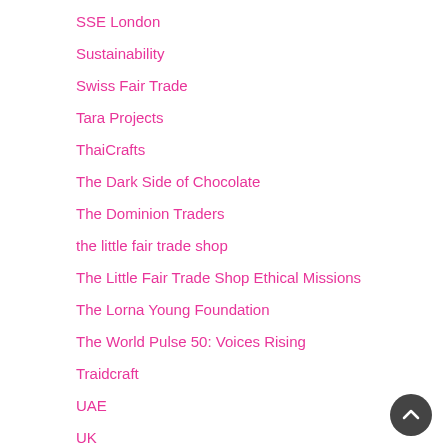SSE London
Sustainability
Swiss Fair Trade
Tara Projects
ThaiCrafts
The Dark Side of Chocolate
The Dominion Traders
the little fair trade shop
The Little Fair Trade Shop Ethical Missions
The Lorna Young Foundation
The World Pulse 50: Voices Rising
Traidcraft
UAE
UK
University of Exeter